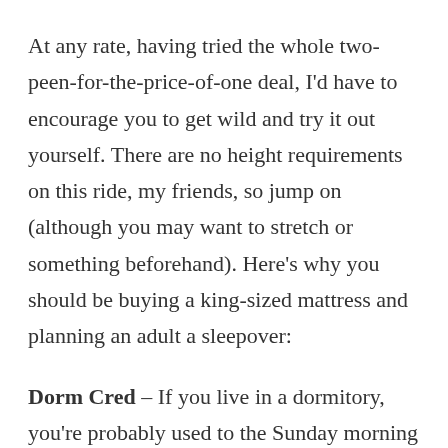At any rate, having tried the whole two-peen-for-the-price-of-one deal, I'd have to encourage you to get wild and try it out yourself.  There are no height requirements on this ride, my friends, so jump on (although you may want to stretch or something beforehand).  Here's why you should be buying a king-sized mattress and planning an adult a sleepover:
Dorm Cred – If you live in a dormitory, you're probably used to the Sunday morning exchange of stories from your wild weekends.  Well, what